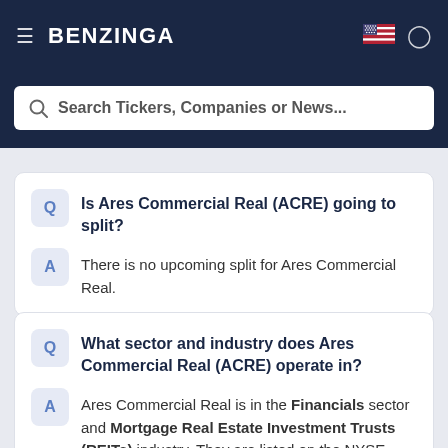BENZINGA
Search Tickers, Companies or News...
Q: Is Ares Commercial Real (ACRE) going to split?
A: There is no upcoming split for Ares Commercial Real.
Q: What sector and industry does Ares Commercial Real (ACRE) operate in?
A: Ares Commercial Real is in the Financials sector and Mortgage Real Estate Investment Trusts (REITs) industry. They are listed on the NYSE.